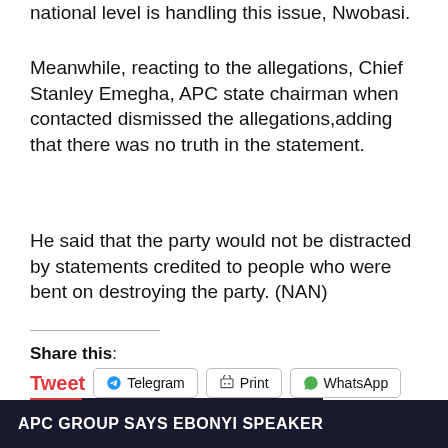national level is handling this issue, Nwobasi.
Meanwhile, reacting to the allegations, Chief Stanley Emegha, APC state chairman when contacted dismissed the allegations,adding that there was no truth in the statement.
He said that the party would not be distracted by statements credited to people who were bent on destroying the party. (NAN)
Share this:
Tweet  Telegram  Print  WhatsApp
15 SACKED LAWMAKERS
APC GROUP SAYS EBONYI SPEAKER